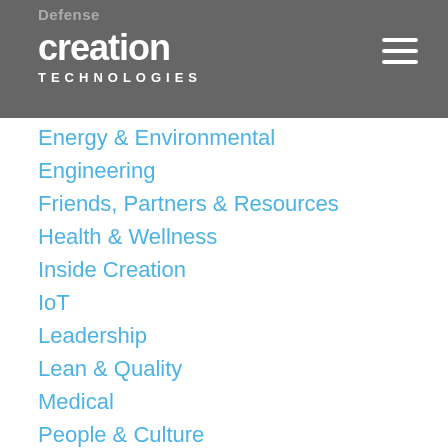creation TECHNOLOGIES
Energy & Environmental
Engineering
Friends, Partners & Resources
Health & Wellness
Inside Creation
IoT
Leadership
Lean & Quality
Medical
People & Culture
Press Release
Product Strategy
Supply Chain